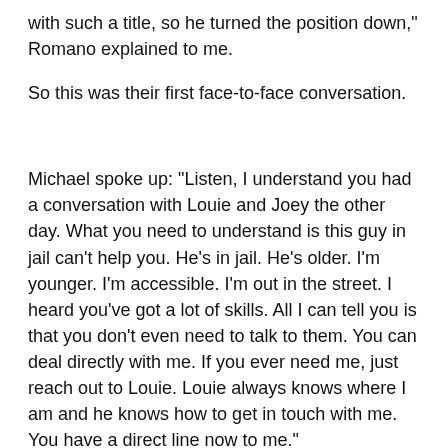with such a title, so he turned the position down," Romano explained to me.
So this was their first face-to-face conversation.
Michael spoke up: "Listen, I understand you had a conversation with Louie and Joey the other day. What you need to understand is this guy in jail can't help you. He's in jail. He's older. I'm younger. I'm accessible. I'm out in the street. I heard you've got a lot of skills. All I can tell you is that you don't even need to talk to them. You can deal directly with me. If you ever need me, just reach out to Louie. Louie always knows where I am and he knows how to get in touch with me. You have a direct line now to me."
Johnny G. was not doing right by the family, DiLeonardo reminded Sal.